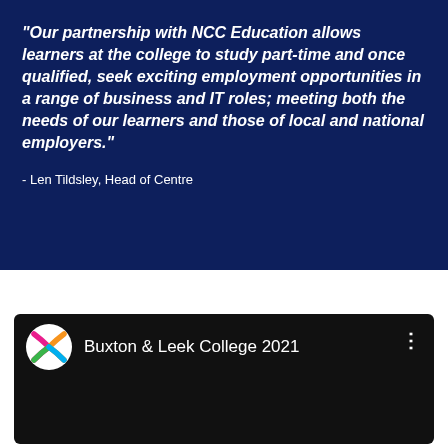“Our partnership with NCC Education allows learners at the college to study part-time and once qualified, seek exciting employment opportunities in a range of business and IT roles; meeting both the needs of our learners and those of local and national employers.”
- Len Tildsley, Head of Centre
[Figure (screenshot): YouTube-style video card with black background, Buxton & Leek College logo (colorful circular icon with crossing ribbon shapes in pink, orange, green, blue), title text 'Buxton & Leek College 2021', and three-dot menu icon.]